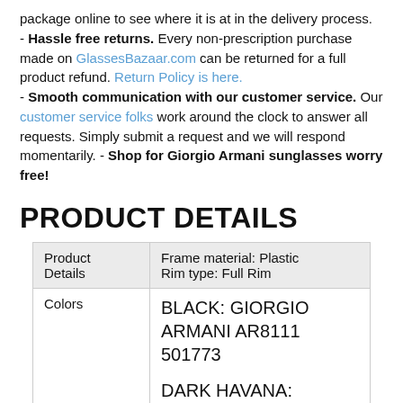package online to see where it is at in the delivery process.
- Hassle free returns. Every non-prescription purchase made on GlassesBazaar.com can be returned for a full product refund. Return Policy is here.
- Smooth communication with our customer service. Our customer service folks work around the clock to answer all requests. Simply submit a request and we will respond momentarily. - Shop for Giorgio Armani sunglasses worry free!
PRODUCT DETAILS
|  |  |
| --- | --- |
| Product Details | Frame material: Plastic
Rim type: Full Rim |
| Colors | BLACK: GIORGIO ARMANI AR8111 501773

DARK HAVANA: GIORGIO ARMANI AR8111 502671

OPAL BROWN: GIORGIO ARMANI |